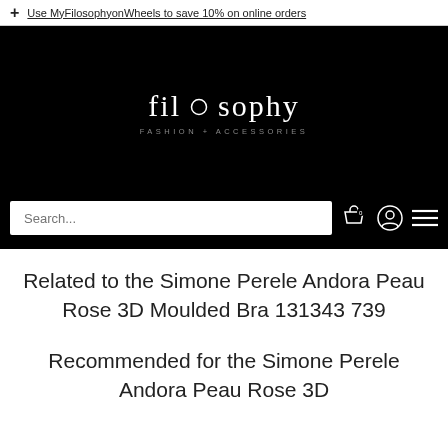Use MyFilosophyonWheels to save 10% on online orders
[Figure (logo): filosophy FASHION + ACCESSORIES logo in white text on black background]
Related to the Simone Perele Andora Peau Rose 3D Moulded Bra 131343 739
Recommended for the Simone Perele Andora Peau Rose 3D